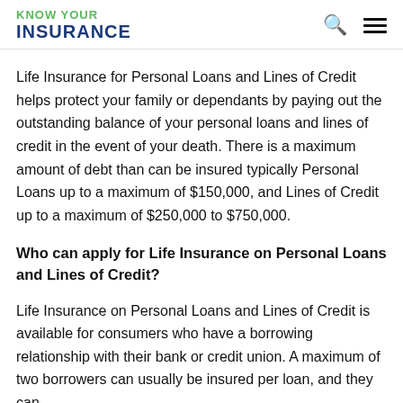KNOW YOUR INSURANCE
Life Insurance for Personal Loans and Lines of Credit helps protect your family or dependants by paying out the outstanding balance of your personal loans and lines of credit in the event of your death. There is a maximum amount of debt than can be insured typically Personal Loans up to a maximum of $150,000, and Lines of Credit up to a maximum of $250,000 to $750,000.
Who can apply for Life Insurance on Personal Loans and Lines of Credit?
Life Insurance on Personal Loans and Lines of Credit is available for consumers who have a borrowing relationship with their bank or credit union. A maximum of two borrowers can usually be insured per loan, and they can